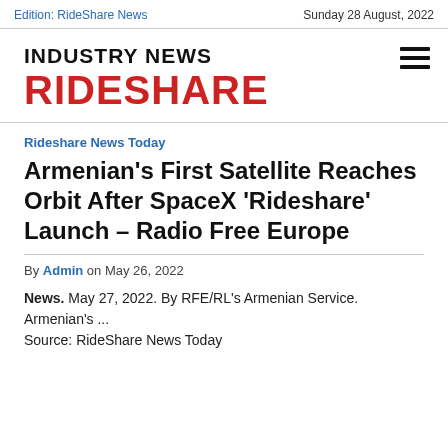Edition: RideShare News    Sunday 28 August, 2022
INDUSTRY NEWS RIDESHARE
Rideshare News Today
Armenian's First Satellite Reaches Orbit After SpaceX 'Rideshare' Launch – Radio Free Europe
By Admin on May 26, 2022
News. May 27, 2022. By RFE/RL's Armenian Service. Armenian's ...
Source: RideShare News Today